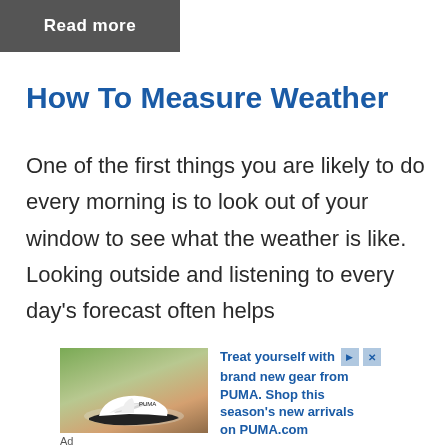[Figure (screenshot): Read more button with dark grey background]
How To Measure Weather
One of the first things you are likely to do every morning is to look out of your window to see what the weather is like. Looking outside and listening to every day's forecast often helps
[Figure (photo): Advertisement showing PUMA sneakers with text: Treat yourself with brand new gear from PUMA. Shop this season's new arrivals on PUMA.com]
Ad